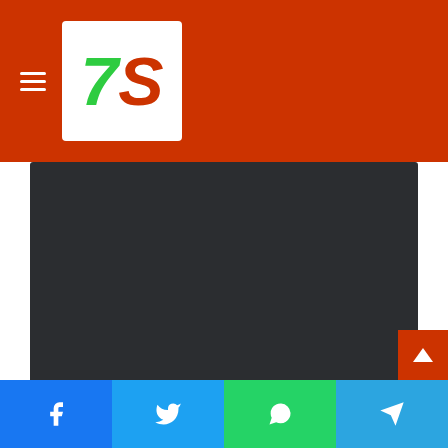[Figure (logo): 7S logo in red and green on white background, inside red header with hamburger menu]
[Figure (photo): Dark/black rectangular image area, likely a video or screenshot placeholder]
Type the message correctly with your roll number in the above format and send to 16222. After sending an SMS, your results will be sent to your contact number immediately. You cannot contact us or the Teletalk Authority if you wish as this is an automatic process. If you do not get the result even a
[Figure (infographic): Social media share buttons: Facebook, Twitter, WhatsApp, Telegram at the bottom of the page]